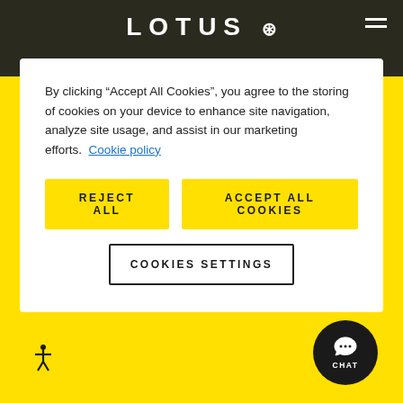LOTUS
By clicking “Accept All Cookies”, you agree to the storing of cookies on your device to enhance site navigation, analyze site usage, and assist in our marketing efforts.  Cookie policy
Reject All
Accept All Cookies
Cookies Settings